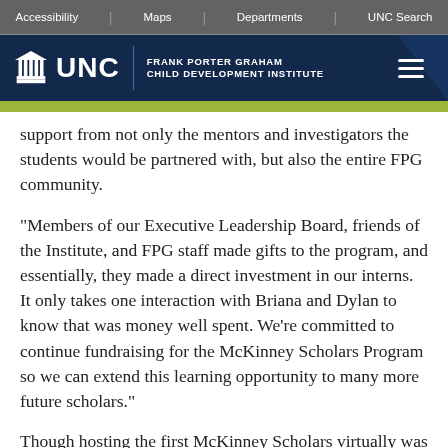Accessibility | Maps | Departments | UNC Search
[Figure (logo): UNC Frank Porter Graham Child Development Institute logo with hamburger menu on dark navy background]
support from not only the mentors and investigators the students would be partnered with, but also the entire FPG community.
"Members of our Executive Leadership Board, friends of the Institute, and FPG staff made gifts to the program, and essentially, they made a direct investment in our interns. It only takes one interaction with Briana and Dylan to know that was money well spent. We're committed to continue fundraising for the McKinney Scholars Program so we can extend this learning opportunity to many more future scholars."
Though hosting the first McKinney Scholars virtually was neither easy nor ideal, Ayankoya said